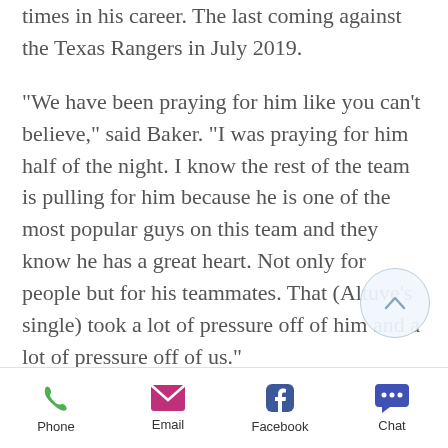times in his career. The last coming against the Texas Rangers in July 2019.
"We have been praying for him like you can't believe," said Baker. "I was praying for him half of the night. I know the rest of the team is pulling for him because he is one of the most popular guys on this team and they know he has a great heart. Not only for people but for his teammates. That (Altuve's single) took a lot of pressure off of him and a lot of pressure off of us."
One person in the lineup who is feeling no pressure is first baseman, Yuli Gurriel who homered for the second
Phone   Email   Facebook   Chat